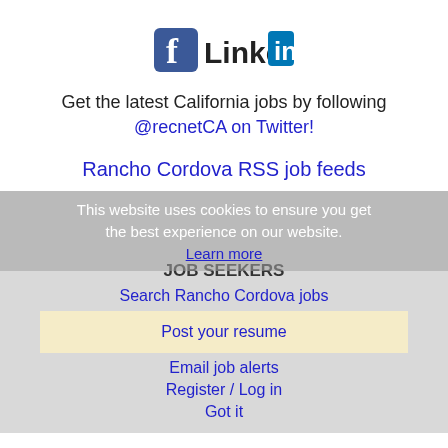[Figure (logo): Facebook and LinkedIn logos side by side]
Get the latest California jobs by following @recnetCA on Twitter!
Rancho Cordova RSS job feeds
This website uses cookies to ensure you get the best experience on our website. Learn more
JOB SEEKERS
Search Rancho Cordova jobs
Post your resume
Email job alerts
Register / Log in